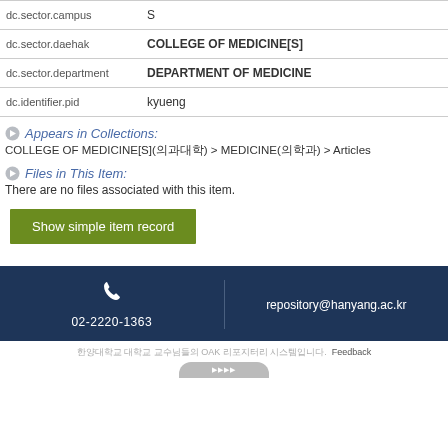| Field | Value |
| --- | --- |
| dc.sector.campus | S |
| dc.sector.daehak | COLLEGE OF MEDICINE[S] |
| dc.sector.department | DEPARTMENT OF MEDICINE |
| dc.identifier.pid | kyueng |
Appears in Collections:
COLLEGE OF MEDICINE[S](의과대학) > MEDICINE(의학과) > Articles
Files in This Item:
There are no files associated with this item.
Show simple item record
02-2220-1363   repository@hanyang.ac.kr